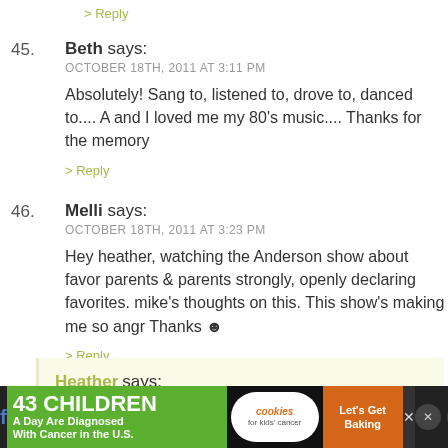> Reply
45. Beth says:
OCTOBER 18TH, 2011 AT 3:11 PM
Absolutely! Sang to, listened to, drove to, danced to.... A and I loved me my 80's music.... Thanks for the memory
> Reply
46. Melli says:
OCTOBER 18TH, 2011 AT 3:23 PM
Hey heather, watching the Anderson show about favor parents & parents strongly, openly declaring favorites. mike's thoughts on this. This show's making me so angr Thanks :)
> Reply
Heather says:
OCTOBER 18TH, 2011 AT 6:47 PM
[Figure (infographic): Advertisement banner: '43 CHILDREN A Day Are Diagnosed With Cancer in the U.S.' with cookies for kids' cancer and 'Let's Get Baking' call to action on dark background]